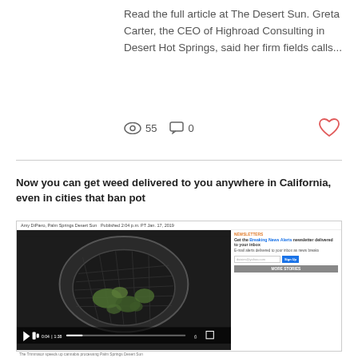Read the full article at The Desert Sun. Greta Carter, the CEO of Highroad Consulting in Desert Hot Springs, said her firm fields calls...
55   0
[Figure (screenshot): Screenshot of a Desert Sun news article about weed delivery in California, showing a video of cannabis in a bowl/trimmer, newsletter signup sidebar, and video controls.]
Now you can get weed delivered to you anywhere in California, even in cities that ban pot
The Trimmator speeds up cannabis processing Palm Springs Desert Sun
Jan 17, 2019 · 1 min
Now you can get weed